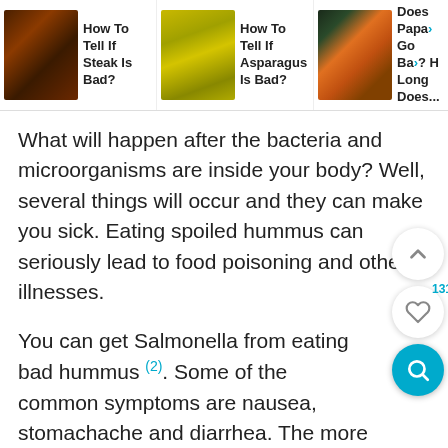How To Tell If Steak Is Bad? | How To Tell If Asparagus Is Bad? | Does Papaya Go Bad? How Long Does...
What will happen after the bacteria and microorganisms are inside your body? Well, several things will occur and they can make you sick. Eating spoiled hummus can seriously lead to food poisoning and other illnesses.
You can get Salmonella from eating bad hummus (2). Some of the common symptoms are nausea, stomachache and diarrhea. The more you eat bad hummus, the worse the symptoms will be.
You may also experience a more severe infection called Listeriosis (3). These germs are often found in contaminated food. They can cause fever,